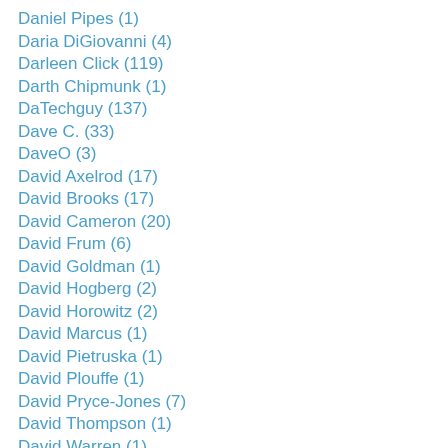Daniel Pipes (1)
Daria DiGiovanni (4)
Darleen Click (119)
Darth Chipmunk (1)
DaTechguy (137)
Dave C. (33)
DaveO (3)
David Axelrod (17)
David Brooks (17)
David Cameron (20)
David Frum (6)
David Goldman (1)
David Hogberg (2)
David Horowitz (2)
David Marcus (1)
David Pietruska (1)
David Plouffe (1)
David Pryce-Jones (7)
David Thompson (1)
David Warren (1)